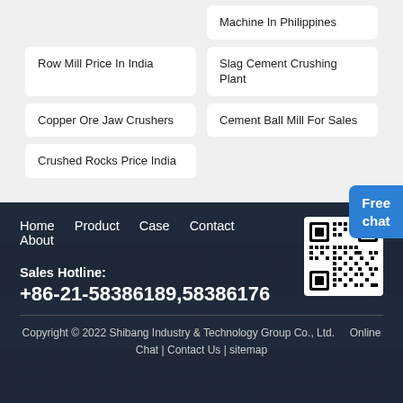Machine In Philippines
Row Mill Price In India
Slag Cement Crushing Plant
Copper Ore Jaw Crushers
Cement Ball Mill For Sales
Crushed Rocks Price India
Free chat
Home   Product   Case   Contact   About
Sales Hotline:
+86-21-58386189,58386176
Copyright © 2022 Shibang Industry & Technology Group Co., Ltd.   Online Chat | Contact Us | sitemap